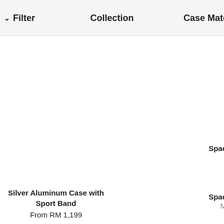Filter   Collection   Case Materia
Spac
M
Silver Aluminum Case with Sport Band
From RM 1,199
Spac